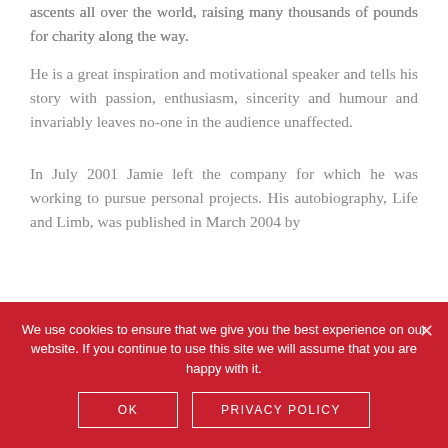ascents all over the world, raising many thousands of pounds for charity along the way.
He is a great inspiration and motivational speaker and tells his story with passion, enthusiasm, sincerity and humour and invariably leaves no-one in the audience unaffected.
In July 2001 Jamie left the company for which he was working to pursue personal projects. His autobiography, Life and Limb, was published in March 2004 by
We use cookies to ensure that we give you the best experience on our website. If you continue to use this site we will assume that you are happy with it.
OK
PRIVACY POLICY